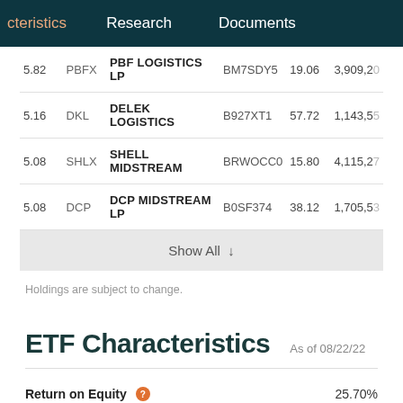cteristics   Research   Documents
|  |  | Name | ISIN | Price | Market Cap |
| --- | --- | --- | --- | --- | --- |
| 5.82 | PBFX | PBF LOGISTICS LP | BM7SDY5 | 19.06 | 3,909,2... |
| 5.16 | DKL | DELEK LOGISTICS | B927XT1 | 57.72 | 1,143,5... |
| 5.08 | SHLX | SHELL MIDSTREAM | BRWOCC0 | 15.80 | 4,115,2... |
| 5.08 | DCP | DCP MIDSTREAM LP | B0SF374 | 38.12 | 1,705,5... |
Show All ↓
Holdings are subject to change.
ETF Characteristics  As of 08/22/22
Return on Equity   25.70%